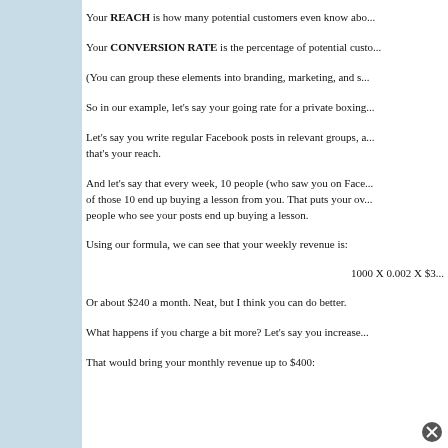Your REACH is how many potential customers even know abo...
Your CONVERSION RATE is the percentage of potential custo...
(You can group these elements into branding, marketing, and s...
So in our example, let's say your going rate for a private boxing...
Let's say you write regular Facebook posts in relevant groups, a... that's your reach.
And let's say that every week, 10 people (who saw you on Face... of those 10 end up buying a lesson from you. That puts your ov... people who see your posts end up buying a lesson.
Using our formula, we can see that your weekly revenue is:
Or about $240 a month. Neat, but I think you can do better.
What happens if you charge a bit more? Let's say you increase...
That would bring your monthly revenue up to $400: